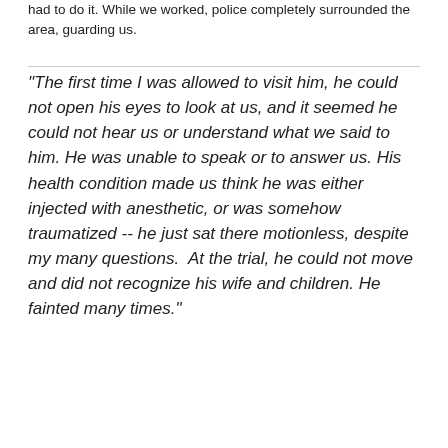had to do it. While we worked, police completely surrounded the area, guarding us.
"The first time I was allowed to visit him, he could not open his eyes to look at us, and it seemed he could not hear us or understand what we said to him. He was unable to speak or to answer us. His health condition made us think he was either injected with anesthetic, or was somehow traumatized -- he just sat there motionless, despite my many questions.  At the trial, he could not move and did not recognize his wife and children. He fainted many times."
- Chau Hen's wife, Neang Phon, describing his condition two days before his trial in 2011.
[Figure (photo): Black and white photograph showing two scenes side by side: on the left, a person sitting, and on the right, a person near medical or hospital equipment with bags hanging.]